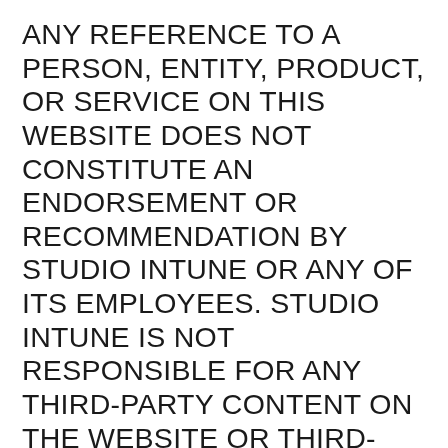ANY REFERENCE TO A PERSON, ENTITY, PRODUCT, OR SERVICE ON THIS WEBSITE DOES NOT CONSTITUTE AN ENDORSEMENT OR RECOMMENDATION BY STUDIO INTUNE OR ANY OF ITS EMPLOYEES. STUDIO INTUNE IS NOT RESPONSIBLE FOR ANY THIRD-PARTY CONTENT ON THE WEBSITE OR THIRD-PARTY WEB PAGE ACCESSED FROM THIS WEBSITE, NOR DOES STUDIO INTUNE WARRANT THE ACCURACY OF ANY INFORMATION CONTAINED IN A THIRD-PARTY WEBSITE OR ITS FITNESS FOR ANY PARTICULAR PURPOSE. NO COMMUNICATION OF ANY KIND BETWEEN YOU AND STUDIO INTUNE OR A REPRESENTATIVE OF STUDIO INTUNE SHALL CONSTITUTE A WAIVER OF ANY LIMITATIONS OF LIABILITY HEREUNDER OR CREATE ANY ADDITIONAL WARRANTY NOT EXPRESSLY STATED IN THE TERMS OF USE